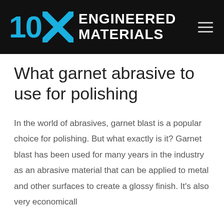[Figure (logo): 10X Engineered Materials logo on black background with hamburger menu icon]
What garnet abrasive to use for polishing
In the world of abrasives, garnet blast is a popular choice for polishing. But what exactly is it? Garnet blast has been used for many years in the industry as an abrasive material that can be applied to metal and other surfaces to create a glossy finish. It's also very economically